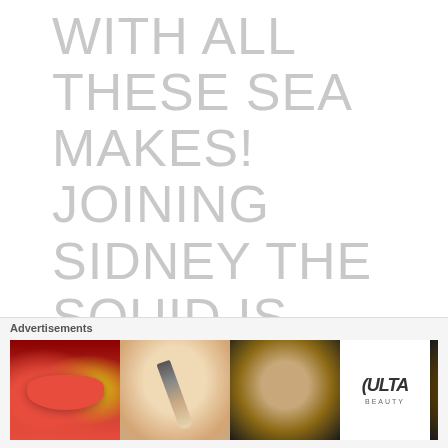WITH ALL THESE SEA MAKES! JOINING SIDNEY THE SQUID IS OSCAR THE CROCHET OCTOPUS, DESIGNING THIS PATTERN WAS QUITE A CHALLENGE!
After finishing my squid I have been thinking of some other sea makes to complete, and decided
[Figure (other): Advertisement banner for ULTA Beauty featuring makeup imagery including lips, makeup brush, eye with heavy makeup, ULTA logo, another eye, and a SHOP NOW button]